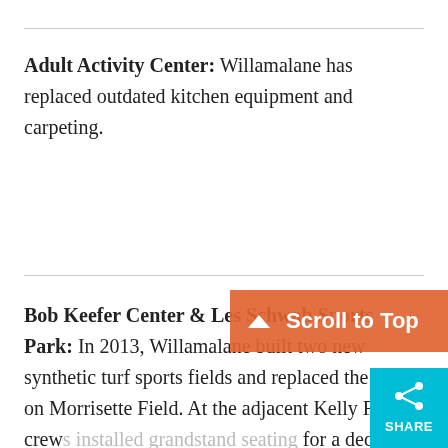Adult Activity Center: Willamalane has replaced outdated kitchen equipment and carpeting.
Bob Keefer Center & Les Schwab Sports Park: In 2013, Willamalane built two new synthetic turf sports fields and replaced the turf on Morrisette Field. At the adjacent Kelly Field, crews installed grandstand seating for a dedicated soccer field, field lighting and additional parking. Willamalane also installed two 90-foot-long outdoor bocce ball courts just north of the main entrance. In 2016, Willamalane added a new entry a